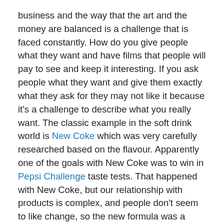business and the way that the art and the money are balanced is a challenge that is faced constantly. How do you give people what they want and have films that people will pay to see and keep it interesting. If you ask people what they want and give them exactly what they ask for they may not like it because it's a challenge to describe what you really want. The classic example in the soft drink world is New Coke which was very carefully researched based on the flavour. Apparently one of the goals with New Coke was to win in Pepsi Challenge taste tests. That happened with New Coke, but our relationship with products is complex, and people don't seem to like change, so the new formula was a failure and 2 1/2 months after it was introduced in North America, the Coca Cola Company had Coca Cola Classic bring back the original formula.
Many film series now have a secondary goal to maximize their investment in the franchise. So if a movie attracts a...